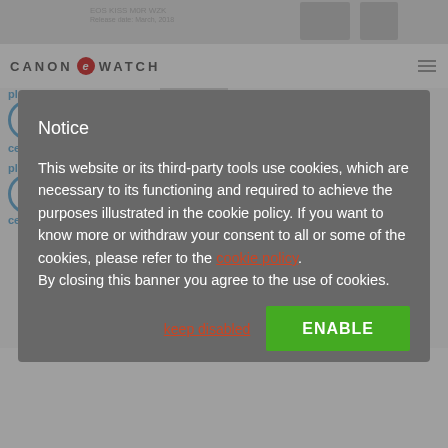CANON e WATCH
5th place (10th in the previous month)
DOWN (5th in the previous month)
EOS KISS M0R WZK
Release date: March, 2018
Nikon
D5600 double zoom kit
D5600 WZ
Release date: November 2016
Nikon
D5300 AF-P double zoom kit
D5300WZ3
Release date: February 2017
Notice
This website or its third-party tools use cookies, which are necessary to its functioning and required to achieve the purposes illustrated in the cookie policy. If you want to know more or withdraw your consent to all or some of the cookies, please refer to the cookie policy.
By closing this banner you agree to the use of cookies.
keep disabled
ENABLE
INTERCHANGEABLE LENS